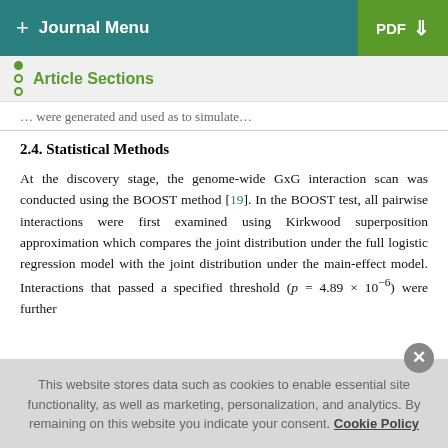+ Journal Menu | PDF ↓
Article Sections
... were generated and used as to simulate...
2.4. Statistical Methods
At the discovery stage, the genome-wide GxG interaction scan was conducted using the BOOST method [19]. In the BOOST test, all pairwise interactions were first examined using Kirkwood superposition approximation which compares the joint distribution under the full logistic regression model with the joint distribution under the main-effect model. Interactions that passed a specified threshold (p = 4.89 × 10⁻⁶) were further
This website stores data such as cookies to enable essential site functionality, as well as marketing, personalization, and analytics. By remaining on this website you indicate your consent. Cookie Policy